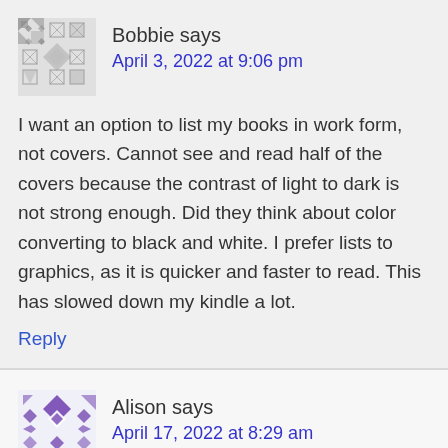Bobbie says
April 3, 2022 at 9:06 pm
I want an option to list my books in work form, not covers. Cannot see and read half of the covers because the contrast of light to dark is not strong enough. Did they think about color converting to black and white. I prefer lists to graphics, as it is quicker and faster to read. This has slowed down my kindle a lot.
Reply
Alison says
April 17, 2022 at 8:29 am